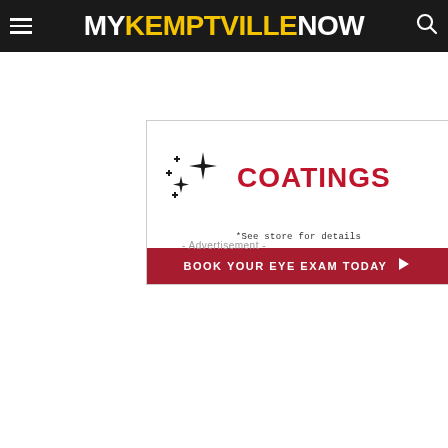MyKemptvilleNow
[Figure (infographic): Advertisement banner for optical coatings. Shows sparkle/star icons on the left, bold red text 'COATINGS', italicized text '*See store for details', and a dark red button at bottom reading 'BOOK YOUR EYE EXAM TODAY' with an arrow chevron.]
- Advertisement -